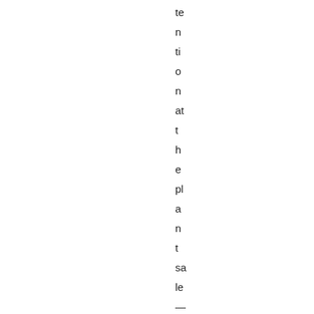te n ti o n at t h e pl a n t sa le — n o s u